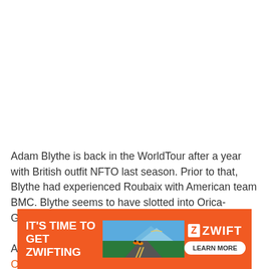Adam Blythe is back in the WorldTour after a year with British outfit NFTO last season. Prior to that, Blythe had experienced Roubaix with American team BMC. Blythe seems to have slotted into Orica-GreenEdge with ease, quickly finding his feet.

As his victory in last year's RideLondon-Surrey Classic
[Figure (infographic): Orange Zwift advertisement banner: 'IT'S TIME TO GET ZWIFTING' with cycling image and 'LEARN MORE' button]